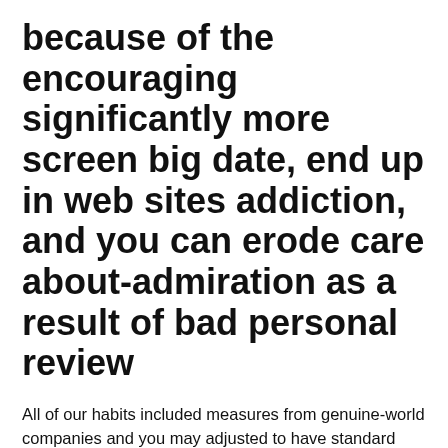because of the encouraging significantly more screen big date, end up in web sites addiction, and you can erode care about-admiration as a result of bad personal review
All of our habits included measures from genuine-world companies and you may adjusted to have standard Facebook use. Whenever we accounted for somebody's level of initially really-being, first genuine-world systems, and you will initial amount of Twitter explore, improved usage of Twitter was still associated with an odds of decreased coming really-becoming. This provides certain facts that relationship ranging from Facebook have fun with and you can erode care about-admiration as a result of bad personal review.